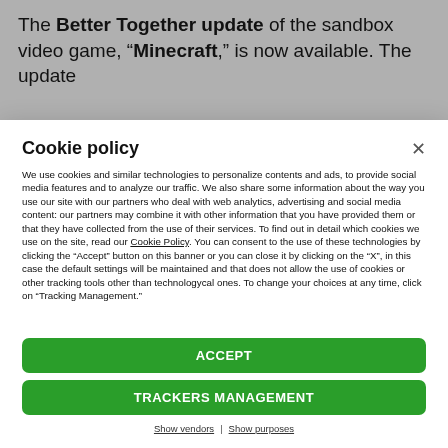The Better Together update of the sandbox video game, “Minecraft,” is now available. The update
Cookie policy
We use cookies and similar technologies to personalize contents and ads, to provide social media features and to analyze our traffic. We also share some information about the way you use our site with our partners who deal with web analytics, advertising and social media content: our partners may combine it with other information that you have provided them or that they have collected from the use of their services. To find out in detail which cookies we use on the site, read our Cookie Policy. You can consent to the use of these technologies by clicking the “Accept” button on this banner or you can close it by clicking on the “X”, in this case the default settings will be maintained and that does not allow the use of cookies or other tracking tools other than technologycal ones. To change your choices at any time, click on “Tracking Management.”
ACCEPT
TRACKERS MANAGEMENT
Show vendors | Show purposes